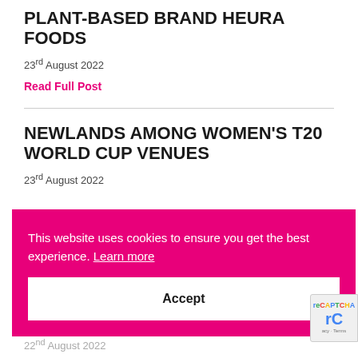PLANT-BASED BRAND HEURA FOODS
23rd August 2022
Read Full Post
NEWLANDS AMONG WOMEN'S T20 WORLD CUP VENUES
23rd August 2022
This website uses cookies to ensure you get the best experience. Learn more
Accept
22nd August 2022